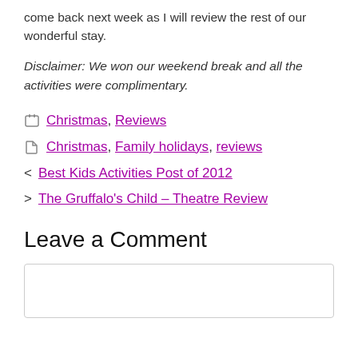come back next week as I will review the rest of our wonderful stay.
Disclaimer: We won our weekend break and all the activities were complimentary.
Categories: Christmas, Reviews
Tags: Christmas, Family holidays, reviews
< Best Kids Activities Post of 2012
> The Gruffalo's Child – Theatre Review
Leave a Comment